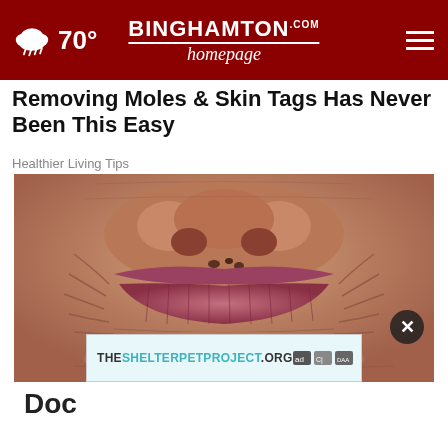70° | BINGHAMTON homepage.com
Removing Moles & Skin Tags Has Never Been This Easy
Healthier Living Tips
[Figure (photo): Close-up of elderly person's lips/mouth area showing wrinkled skin and skin growths/tags around the lip area]
[Figure (other): Advertisement banner: THESHELTERPETPROJECT.ORG with ad badges]
Doc